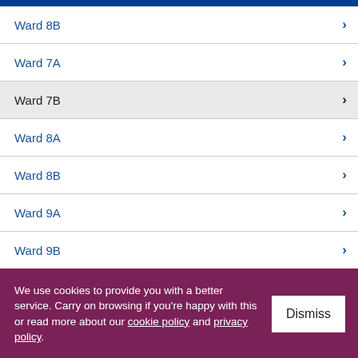Ward 8B
Ward 7A
Ward 7B
Ward 8A
Ward 8B
Ward 9A
Ward 9B
Woodmancote Ward
We use cookies to provide you with a better service. Carry on browsing if you're happy with this or read more about our cookie policy and privacy policy.